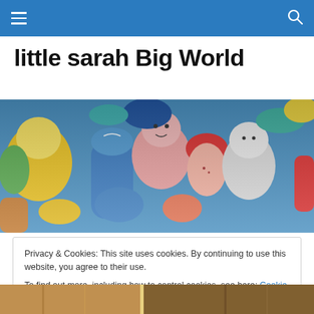Navigation bar with hamburger menu and search icon
little sarah Big World
[Figure (photo): Close-up photo of many colorful Fisher-Price Little People toy figures with painted faces, in various colors including blue, pink, yellow, red, and white.]
Privacy & Cookies: This site uses cookies. By continuing to use this website, you agree to their use.
To find out more, including how to control cookies, see here: Cookie Policy
Close and accept
[Figure (photo): Partial view of another photo at the bottom of the page, showing warm-toned indoor scene.]